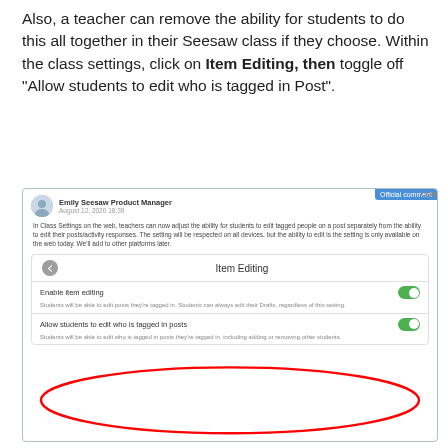Also, a teacher can remove the ability for students to do this all together in their Seesaw class if they choose. Within the class settings, click on Item Editing, then toggle off "Allow students to edit who is tagged in Post".
[Figure (screenshot): Screenshot of Seesaw app Item Editing settings panel showing 'Enable item editing' and 'Allow students to edit who is tagged in posts' toggles, both turned on (green). The second toggle row is circled in red.]